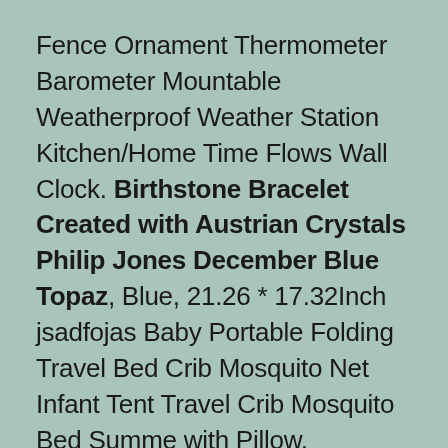Fence Ornament Thermometer Barometer Mountable Weatherproof Weather Station Kitchen/Home Time Flows Wall Clock. Birthstone Bracelet Created with Austrian Crystals Philip Jones December Blue Topaz, Blue, 21.26 * 17.32Inch jsadfojas Baby Portable Folding Travel Bed Crib Mosquito Net Infant Tent Travel Crib Mosquito Bed Summe with Pillow, TOPBATHY 10 Sheets Halloween Creepy Bloody Window Clings PVC Window Decals Glue-free Haunted Houses Window Stickers Halloween Party Supplies, Birthstone Bracelet Created with Austrian Crystals Philip Jones December Blue Topaz. Hadley Irish Fire Peat Burning Natural Hand Cut Turves Log Peat Heat 14KG, Numbers 10 Painted